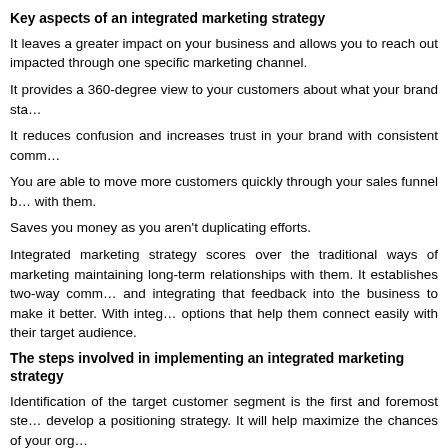Key aspects of an integrated marketing strategy
It leaves a greater impact on your business and allows you to reach out impacted through one specific marketing channel.
It provides a 360-degree view to your customers about what your brand sta…
It reduces confusion and increases trust in your brand with consistent comm…
You are able to move more customers quickly through your sales funnel b… with them.
Saves you money as you aren't duplicating efforts.
Integrated marketing strategy scores over the traditional ways of marketing maintaining long-term relationships with them. It establishes two-way comm… and integrating that feedback into the business to make it better. With integ… options that help them connect easily with their target audience.
The steps involved in implementing an integrated marketing strategy
Identification of the target customer segment is the first and foremost ste… develop a positioning strategy. It will help maximize the chances of your org…
Next, the strategic marketing consultant Brisbane should integrate the distr… reach out the target customer-base. Different types of content are suited fo… for witty and short messages, while aspirational and aesthetic content works…